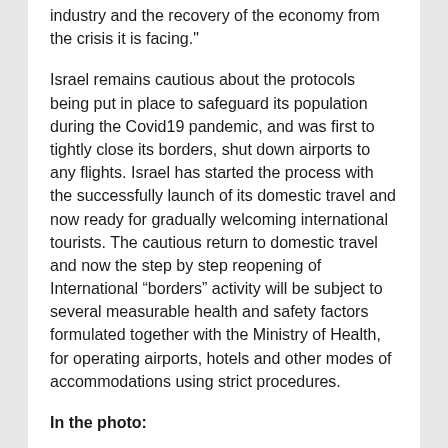industry and the recovery of the economy from the crisis it is facing."
Israel remains cautious about the protocols being put in place to safeguard its population during the Covid19 pandemic, and was first to tightly close its borders, shut down airports to any flights. Israel has started the process with the successfully launch of its domestic travel and now ready for gradually welcoming international tourists. The cautious return to domestic travel and now the step by step reopening of International “borders” activity will be subject to several measurable health and safety factors formulated together with the Ministry of Health, for operating airports, hotels and other modes of accommodations using strict procedures.
In the photo:
From left to right: Greek Prime Minister, Kyriakos Mitsotakisis with Israeli Minister of Tourism, Assaf Zamir.